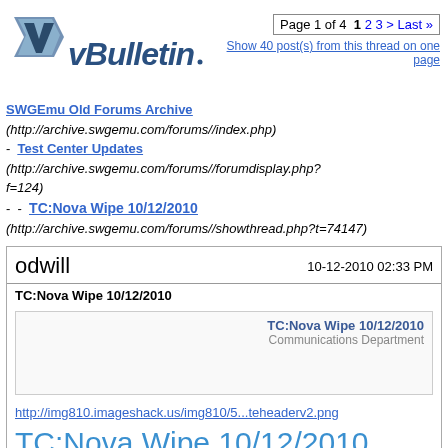[Figure (logo): vBulletin logo with stylized V icon and blue italic text]
Page 1 of 4  1  2  3  >  Last »
Show 40 post(s) from this thread on one page
SWGEmu Old Forums Archive (http://archive.swgemu.com/forums//index.php) - Test Center Updates (http://archive.swgemu.com/forums//forumdisplay.php?f=124) - - TC:Nova Wipe 10/12/2010 (http://archive.swgemu.com/forums//showthread.php?t=74147)
odwill   10-12-2010 02:33 PM
TC:Nova Wipe 10/12/2010
[Figure (screenshot): Inner box with TC:Nova Wipe 10/12/2010 title and Communications Department label]
http://img810.imageshack.us/img810/5...teheaderv2.png
TC:Nova Wipe 10/12/2010
At approximately 2:15 PM EST, TC:Nova was wiped of the following